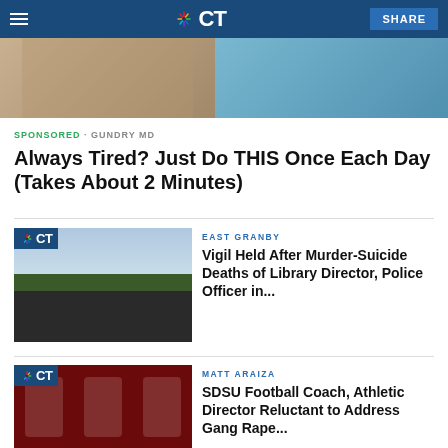NBC CT
[Figure (photo): Top image strip showing two partial photos side by side]
SPONSORED · GUNDRY MD
Always Tired? Just Do THIS Once Each Day (Takes About 2 Minutes)
[Figure (photo): CT branded thumbnail of a library building with crowd outside]
EAST GRANBY
Vigil Held After Murder-Suicide Deaths of Library Director, Police Officer in...
[Figure (photo): CT branded thumbnail showing football players on red background]
MATT ARAIZA
SDSU Football Coach, Athletic Director Reluctant to Address Gang Rape...